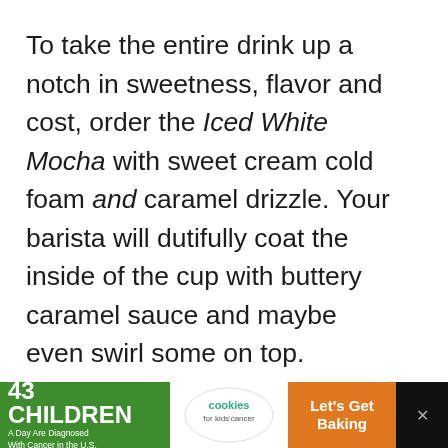To take the entire drink up a notch in sweetness, flavor and cost, order the Iced White Mocha with sweet cream cold foam and caramel drizzle. Your barista will dutifully coat the inside of the cup with buttery caramel sauce and maybe even swirl some on top.
[Figure (other): Red circular heart/favorite button icon]
[Figure (other): Share button icon (circle with share symbol)]
ADVERTISEMENT
[Figure (other): Yellow/gold advertisement banner with text FIND THE ONE and a photo of a coffee drink]
[Figure (other): What's Next panel: WHAT'S NEXT arrow, How to Order TikTok...]
[Figure (other): Bottom advertisement bar: 43 CHILDREN A Day Are Diagnosed With Cancer in the U.S. | cookies for kids cancer logo | Let's Get Baking]